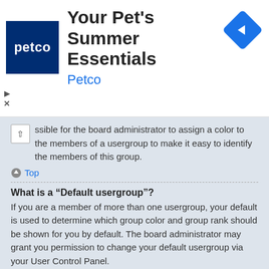[Figure (other): Petco advertisement banner with logo, title 'Your Pet's Summer Essentials', brand name 'Petco', navigation icon, play and close controls]
ssible for the board administrator to assign a color to the members of a usergroup to make it easy to identify the members of this group.
Top
What is a “Default usergroup”?
If you are a member of more than one usergroup, your default is used to determine which group color and group rank should be shown for you by default. The board administrator may grant you permission to change your default usergroup via your User Control Panel.
Top
What is “The team” link?
This page provides you with a list of board staff, including board administrators and moderators and other details such as the